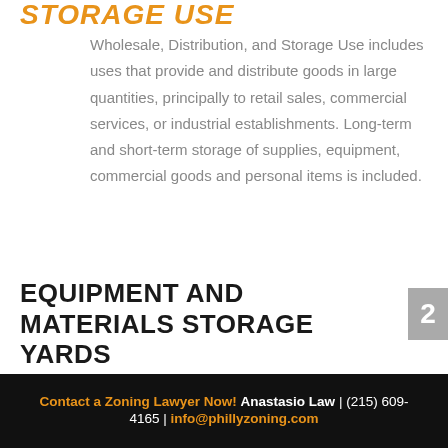STORAGE USE
Wholesale, Distribution, and Storage Use includes uses that provide and distribute goods in large quantities, principally to retail sales, commercial services, or industrial establishments. Long-term and short-term storage of supplies, equipment, commercial goods and personal items is included.
EQUIPMENT AND MATERIALS STORAGE YARDS AND BUILDINGS
Contact a Zoning Lawyer Now! Anastasio Law | (215) 609-4165 | info@phillyzoning.com